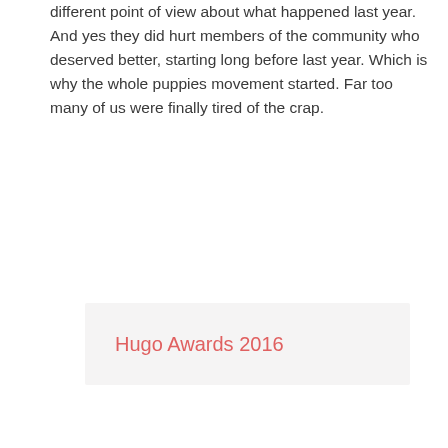different point of view about what happened last year.  And yes they did hurt members of the community who deserved better, starting long before last year. Which is why the whole puppies movement started. Far too many of us were finally tired of the crap.
[Figure (other): A light gray box containing the text 'Hugo Awards 2016' in salmon/coral colored font, appearing to be a link or category label.]